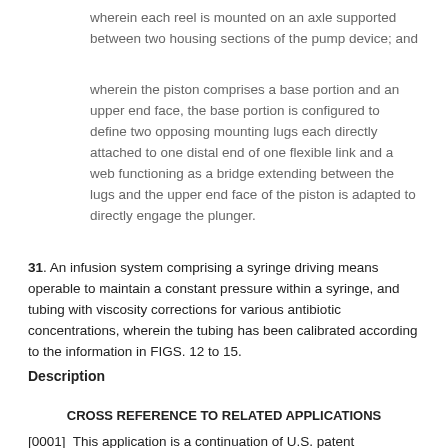wherein each reel is mounted on an axle supported between two housing sections of the pump device; and
wherein the piston comprises a base portion and an upper end face, the base portion is configured to define two opposing mounting lugs each directly attached to one distal end of one flexible link and a web functioning as a bridge extending between the lugs and the upper end face of the piston is adapted to directly engage the plunger.
31. An infusion system comprising a syringe driving means operable to maintain a constant pressure within a syringe, and tubing with viscosity corrections for various antibiotic concentrations, wherein the tubing has been calibrated according to the information in FIGS. 12 to 15.
Description
CROSS REFERENCE TO RELATED APPLICATIONS
[0001]  This application is a continuation of U.S. patent